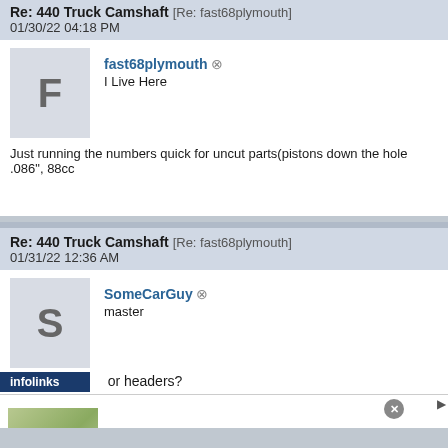Re: 440 Truck Camshaft [Re: fast68plymouth]
01/30/22 04:18 PM
fast68plymouth — I Live Here
Just running the numbers quick for uncut parts(pistons down the hole .086", 88cc
Re: 440 Truck Camshaft [Re: fast68plymouth]
01/31/22 12:36 AM
SomeCarGuy — master
or headers?
[Figure (screenshot): Advertisement for Cheryl's Cookie Delivery showing cookies/brownies image, text 'gourmet brownies, cakes, cookies and cookie gift baskets', www.cheryls.com, with close button and arrow button]